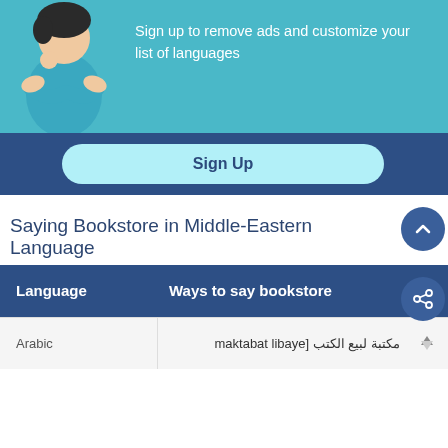[Figure (illustration): Promotional banner with a teal background, illustration of a woman, and text 'Sign up to remove ads and customize your list of languages' with a Sign Up button]
Sign up to remove ads and customize your list of languages
Sign Up
Saying Bookstore in Middle-Eastern Languages
| Language | Ways to say bookstore |
| --- | --- |
| Arabic | مكتبة لبيع الكتب [maktabat libaye |